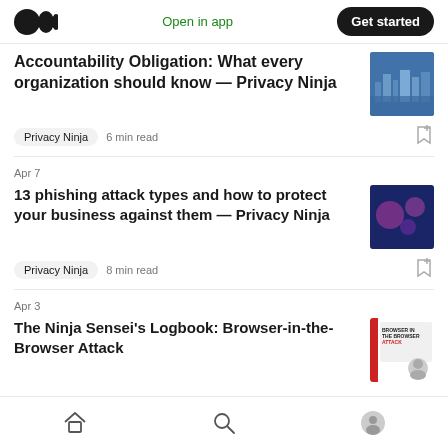Medium logo | Open in app | Get started
Accountability Obligation: What every organization should know — Privacy Ninja
Privacy Ninja  6 min read
Apr 7
13 phishing attack types and how to protect your business against them — Privacy Ninja
Privacy Ninja  8 min read
Apr 3
The Ninja Sensei's Logbook: Browser-in-the-Browser Attack
Home  Search  Profile